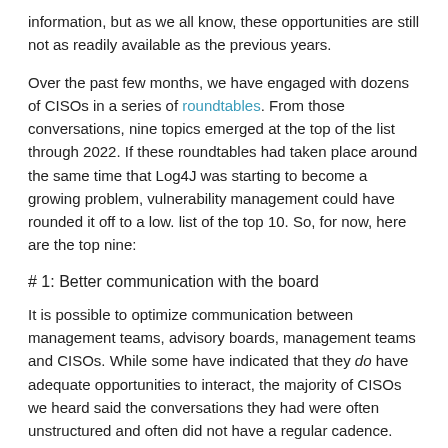information, but as we all know, these opportunities are still not as readily available as the previous years.
Over the past few months, we have engaged with dozens of CISOs in a series of roundtables. From those conversations, nine topics emerged at the top of the list through 2022. If these roundtables had taken place around the same time that Log4J was starting to become a growing problem, vulnerability management could have rounded it off to a low. list of the top 10. So, for now, here are the top nine:
# 1: Better communication with the board
It is possible to optimize communication between management teams, advisory boards, management teams and CISOs. While some have indicated that they do have adequate opportunities to interact, the majority of CISOs we heard said the conversations they had were often unstructured and often did not have a regular cadence. Unsurprisingly, there was also the feeling that the role of the CISO is always the most valued in a crisis and, conversely, lowers the priority list when there is no incident.